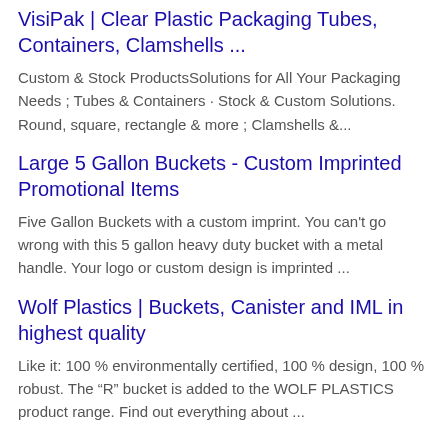VisiPak | Clear Plastic Packaging Tubes, Containers, Clamshells ...
Custom & Stock ProductsSolutions for All Your Packaging Needs ; Tubes & Containers · Stock & Custom Solutions. Round, square, rectangle & more ; Clamshells &...
Large 5 Gallon Buckets - Custom Imprinted Promotional Items
Five Gallon Buckets with a custom imprint. You can't go wrong with this 5 gallon heavy duty bucket with a metal handle. Your logo or custom design is imprinted ...
Wolf Plastics | Buckets, Canister and IML in highest quality
Like it: 100 % environmentally certified, 100 % design, 100 % robust. The “R” bucket is added to the WOLF PLASTICS product range. Find out everything about ...
...